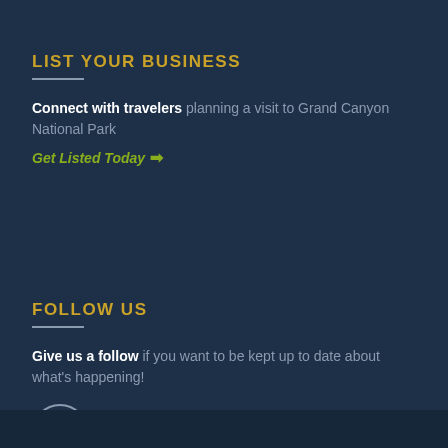LIST YOUR BUSINESS
Connect with travelers planning a visit to Grand Canyon National Park
Get Listed Today →
FOLLOW US
Give us a follow if you want to be kept up to date about what's happening!
[Figure (logo): Facebook icon circle with letter f]